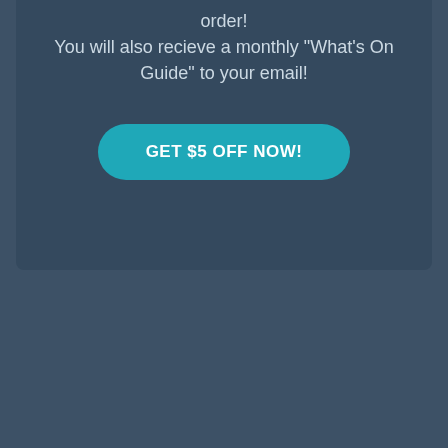order! You will also recieve a monthly "What's On Guide" to your email!
GET $5 OFF NOW!